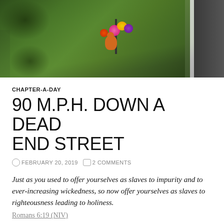[Figure (photo): Aerial view of a roadside memorial on a grassy area beside a road, with flowers, a stuffed animal/teddy bear, and a pole, next to a white road stripe and dark asphalt.]
CHAPTER-A-DAY
90 M.P.H. DOWN A DEAD END STREET
FEBRUARY 20, 2019  2 COMMENTS
Just as you used to offer yourselves as slaves to impurity and to ever-increasing wickedness, so now offer yourselves as slaves to righteousness leading to holiness.
Romans 6:19 (NIV)
It is one of those moments in life that is indelibly etched in my